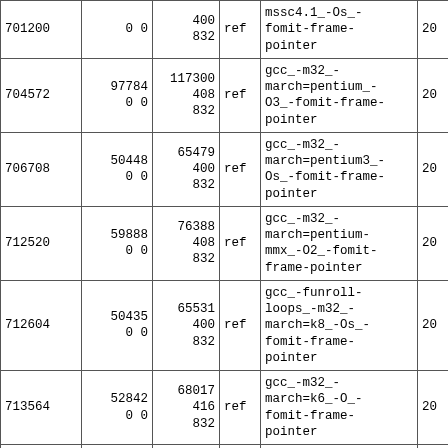| ID | Col2 | Col3 | Col4 | Flags | Col6 |
| --- | --- | --- | --- | --- | --- |
| 701200 | 0 0 | 400
832 | ref | mssc4.1_-Os_-fomit-frame-pointer | 20 |
| 704572 | 97784
0 0 | 117300
408
832 | ref | gcc_-m32_-march=pentium_-O3_-fomit-frame-pointer | 20 |
| 706708 | 50448
0 0 | 65479
400
832 | ref | gcc_-m32_-march=pentium3_-Os_-fomit-frame-pointer | 20 |
| 712520 | 59888
0 0 | 76388
408
832 | ref | gcc_-m32_-march=pentium-mmx_-O2_-fomit-frame-pointer | 20 |
| 712604 | 50435
0 0 | 65531
400
832 | ref | gcc_-funroll-loops_-m32_-march=k8_-Os_-fomit-frame-pointer | 20 |
| 713564 | 52842
0 0 | 68017
416
832 | ref | gcc_-m32_-march=k6_-O_-fomit-frame-pointer | 20 |
| 718804 | 50415
0 0 | 65531
400
832 | ref | gcc_-m32_-march=corei7_-Os_-fomit-frame-pointer | 20 |